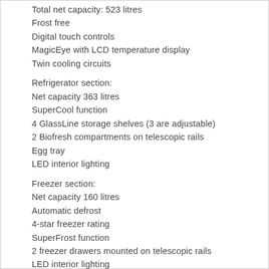Total net capacity: 523 litres
Frost free
Digital touch controls
MagicEye with LCD temperature display
Twin cooling circuits
Refrigerator section:
Net capacity 363 litres
SuperCool function
4 GlassLine storage shelves (3 are adjustable)
2 Biofresh compartments on telescopic rails
Egg tray
LED interior lighting
Freezer section:
Net capacity 160 litres
Automatic defrost
4-star freezer rating
SuperFrost function
2 freezer drawers mounted on telescopic rails
LED interior lighting
Ice maker (plumbed in)
Ice cube production: 1.3 kg in 24 hours
Ice cube storage capacity: 2.7 kg
Door open alarm